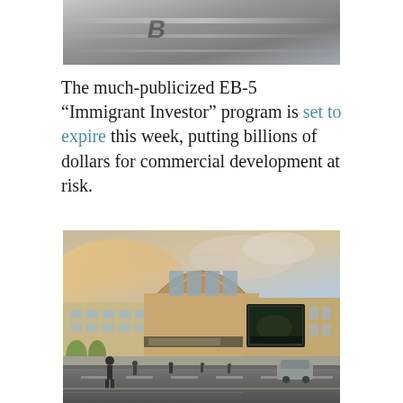[Figure (photo): Top partial image of what appears to be a vehicle or aircraft in motion, cropped, shown in grayscale/blurred]
The much-publicized EB-5 “Immigrant Investor” program is set to expire this week, putting billions of dollars for commercial development at risk.
[Figure (illustration): Architectural rendering of a large commercial building with an arched dome facade, large windows, a big outdoor display screen, and people walking on the street in front. Warm golden-hour sky in background.]